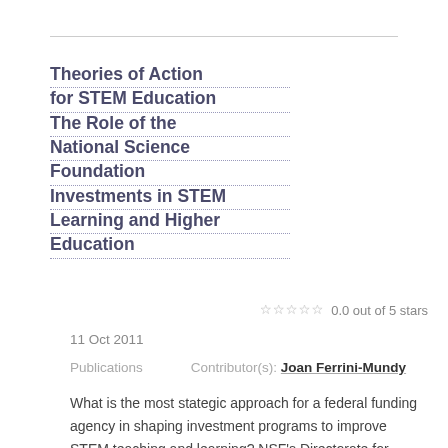Theories of Action for STEM Education The Role of the National Science Foundation Investments in STEM Learning and Higher Education
0.0 out of 5 stars
11 Oct 2011
Publications   Contributor(s): Joan Ferrini-Mundy
What is the most stategic approach for a federal funding agency in shaping investment programs to improve STEM teaching and learning? NSF's Directorate for Education and Human Resources is focused increasingly on its role within the Foundation and in coordination with other